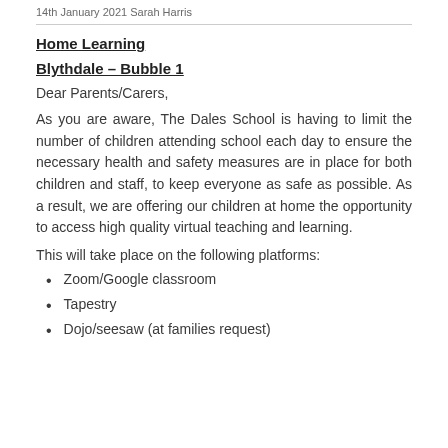14th January 2021  Sarah Harris
Home Learning
Blythdale – Bubble 1
Dear Parents/Carers,
As you are aware, The Dales School is having to limit the number of children attending school each day to ensure the necessary health and safety measures are in place for both children and staff, to keep everyone as safe as possible. As a result, we are offering our children at home the opportunity to access high quality virtual teaching and learning.
This will take place on the following platforms:
Zoom/Google classroom
Tapestry
Dojo/seesaw (at families request)